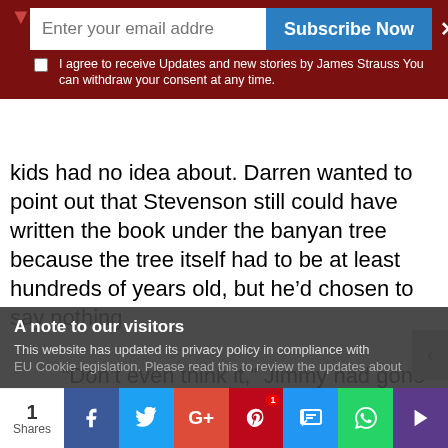[Figure (screenshot): Subscribe overlay with email input, Subscribe Now button, close X, and consent checkbox text over dark red background]
kids had no idea about. Darren wanted to point out that Stevenson still could have written the book under the banyan tree because the tree itself had to be at least hundreds of years old, but he'd chosen to say nothing.

“Don’t even think it,” Jimmy had gone on, as if Darren had added what he was thinking. “The tree was planted in 1904. My dad has a book about the hotel at home. I’ll let you borrow it, but it can’t leave the house.

Darren moved past the tree, giving
[Figure (screenshot): Gray overlay: 'A note to our visitors' with privacy policy update text]
[Figure (screenshot): Social share bar with 1 Share count, Facebook, Twitter, Google+, Pinterest, SMS, WhatsApp, and other share buttons]